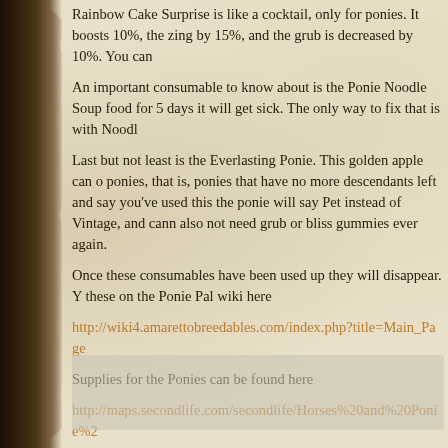Rainbow Cake Surprise is like a cocktail, only for ponies. It boosts 10%, the zing by 15%, and the grub is decreased by 10%. You can
An important consumable to know about is the Ponie Noodle Soup food for 5 days it will get sick. The only way to fix that is with Noodl
Last but not least is the Everlasting Ponie. This golden apple can o ponies, that is, ponies that have no more descendants left and say you've used this the ponie will say Pet instead of Vintage, and cann also not need grub or bliss gummies ever again.
Once these consumables have been used up they will disappear. Y these on the Ponie Pal wiki here
http://wiki4.amarettobreedables.com/index.php?title=Main_Page
Supplies for the Ponies can be found here
http://maps.secondlife.com/secondlife/Horses%20and%20Ponie%2
Now you know how to keep your Ponie Pals happy, healthy, and br